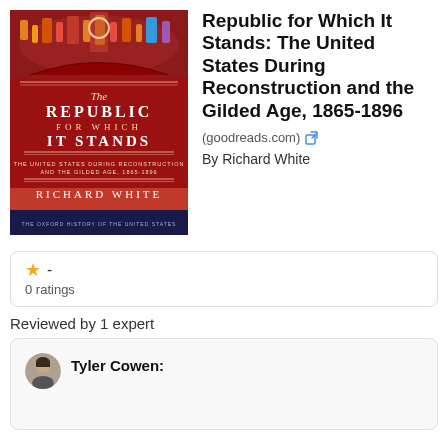[Figure (photo): Book cover of 'The Republic for Which It Stands' by Richard White. Red background with illustrated crowd scene at top, white serif text for title, subtitle 'The United States During Reconstruction and the Gilded Age, 1865-1896', and 'Richard White' at bottom. Part of The Oxford History of the United States series.]
Republic for Which It Stands: The United States During Reconstruction and the Gilded Age, 1865-1896
(goodreads.com)
By Richard White
★ -
0 ratings
Reviewed by 1 expert
Tyler Cowen: